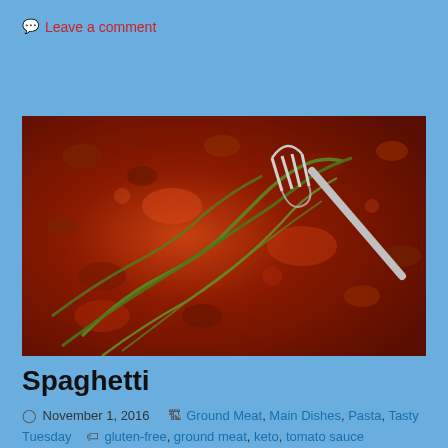Leave a comment
[Figure (photo): Close-up photo of spaghetti dish with zucchini noodles, ground meat, and tomato sauce, with a fork lifting some noodles]
Spaghetti
November 1, 2016   Ground Meat, Main Dishes, Pasta, Tasty Tuesday   gluten-free, ground meat, keto, tomato sauce
At taste the same to success with some of the...